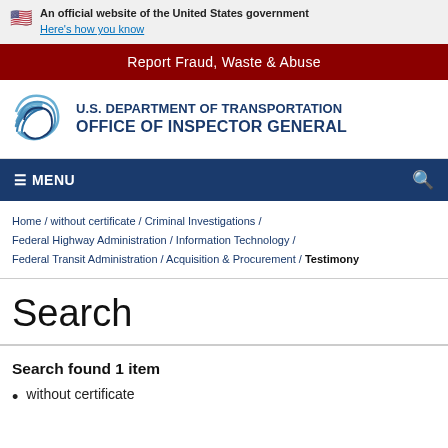An official website of the United States government Here's how you know
Report Fraud, Waste & Abuse
[Figure (logo): U.S. Department of Transportation Office of Inspector General logo with circular swirl emblem]
U.S. DEPARTMENT OF TRANSPORTATION OFFICE OF INSPECTOR GENERAL
≡ MENU
Home / without certificate / Criminal Investigations / Federal Highway Administration / Information Technology / Federal Transit Administration / Acquisition & Procurement / Testimony
Search
Search found 1 item
without certificate